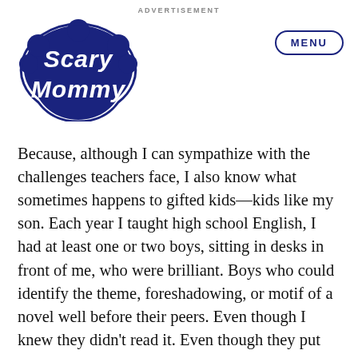ADVERTISEMENT
[Figure (logo): Scary Mommy logo — dark navy blue cloud-shaped badge with cursive white text reading 'Scary Mommy']
MENU
Because, although I can sympathize with the challenges teachers face, I also know what sometimes happens to gifted kids—kids like my son. Each year I taught high school English, I had at least one or two boys, sitting in desks in front of me, who were brilliant. Boys who could identify the theme, foreshadowing, or motif of a novel well before their peers. Even though I knew they didn't read it. Even though they put